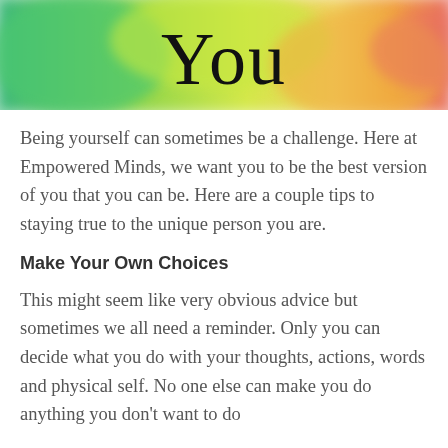[Figure (photo): Colorful blurred background image (green, yellow, orange tones) with large serif text 'You' centered in black]
Being yourself can sometimes be a challenge. Here at Empowered Minds, we want you to be the best version of you that you can be. Here are a couple tips to staying true to the unique person you are.
Make Your Own Choices
This might seem like very obvious advice but sometimes we all need a reminder. Only you can decide what you do with your thoughts, actions, words and physical self. No one else can make you do anything you don't want to do